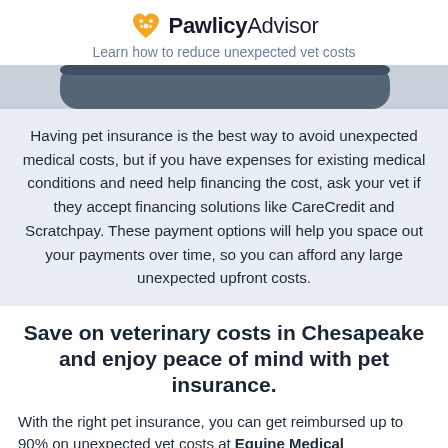PawlicyAdvisor — Learn how to reduce unexpected vet costs
[Figure (photo): Partial view of a dark rounded device or image strip at top of content area]
Having pet insurance is the best way to avoid unexpected medical costs, but if you have expenses for existing medical conditions and need help financing the cost, ask your vet if they accept financing solutions like CareCredit and Scratchpay. These payment options will help you space out your payments over time, so you can afford any large unexpected upfront costs.
Save on veterinary costs in Chesapeake and enjoy peace of mind with pet insurance.
With the right pet insurance, you can get reimbursed up to 90% on unexpected vet costs at Equine Medical